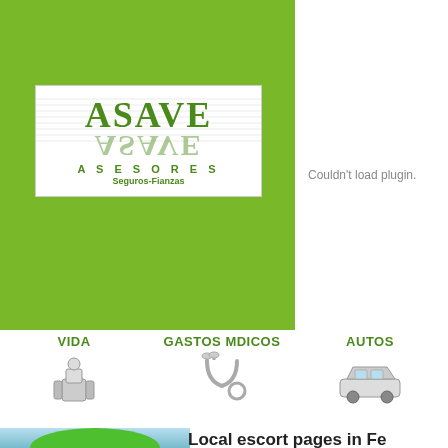[Figure (logo): ASAVE Asesores Seguros-Fianzas logo on green background]
Couldn't load plugin.
VIDA
[Figure (illustration): Person/life insurance icon]
GASTOS MDICOS
[Figure (illustration): Stethoscope medical icon]
AUTOS
[Figure (illustration): Car/auto insurance icon]
[Figure (photo): Green umbrella against blue sky]
Local escort pages in Fe